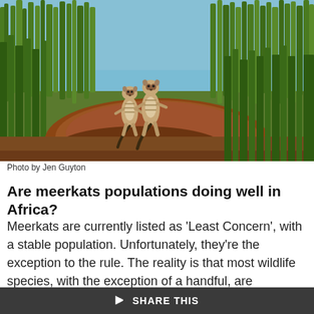[Figure (photo): Two meerkats standing upright on a mound of red-brown earth, surrounded by tall green grass under a blue sky. Low-angle wide shot.]
Photo by Jen Guyton
Are meerkats populations doing well in Africa?
Meerkats are currently listed as ‘Least Concern’, with a stable population. Unfortunately, they’re the exception to the rule. The reality is that most wildlife species, with the exception of a handful, are declining. We’re experiencing a true biodiversity crisis.
SHARE THIS